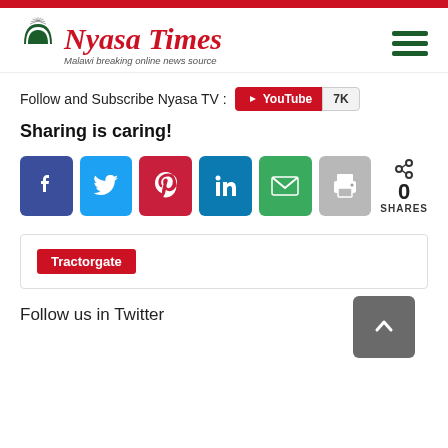[Figure (logo): Nyasa Times logo with arch/rainbow graphic, red italic serif text 'Nyasa Times', subtitle 'Malawi breaking online news source']
Follow and Subscribe Nyasa TV : YouTube 7K
Sharing is caring!
[Figure (infographic): Six social sharing buttons: Facebook (dark blue), Twitter (light blue), Pinterest (red), LinkedIn (dark blue), Email (green), Print (gray); share count showing 0 SHARES]
Tractorgate
Follow us in Twitter